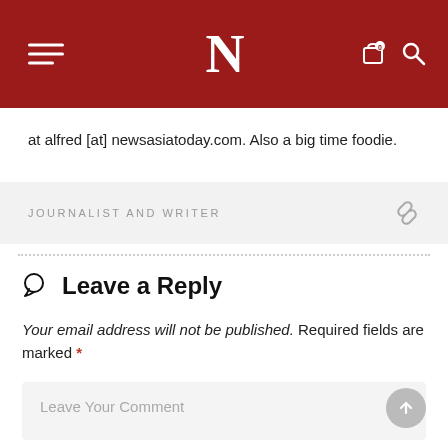N — News Asia Today header with hamburger menu, logo, cart, and search icons
at alfred [at] newsasiatoday.com. Also a big time foodie.
JOURNALIST AND WRITER
Leave a Reply
Your email address will not be published. Required fields are marked *
Leave Your Comment